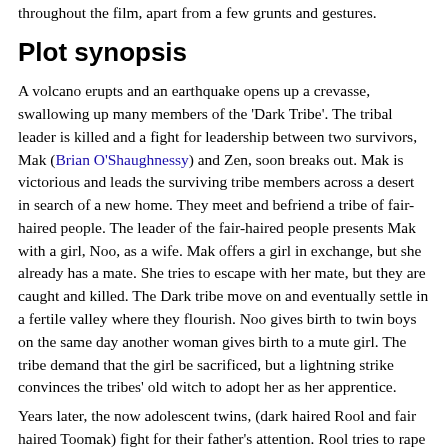throughout the film, apart from a few grunts and gestures.
Plot synopsis
A volcano erupts and an earthquake opens up a crevasse, swallowing up many members of the 'Dark Tribe'. The tribal leader is killed and a fight for leadership between two survivors, Mak (Brian O'Shaughnessy) and Zen, soon breaks out. Mak is victorious and leads the surviving tribe members across a desert in search of a new home. They meet and befriend a tribe of fair-haired people. The leader of the fair-haired people presents Mak with a girl, Noo, as a wife. Mak offers a girl in exchange, but she already has a mate. She tries to escape with her mate, but they are caught and killed. The Dark tribe move on and eventually settle in a fertile valley where they flourish. Noo gives birth to twin boys on the same day another woman gives birth to a mute girl. The tribe demand that the girl be sacrificed, but a lightning strike convinces the tribes' old witch to adopt her as her apprentice.
Years later, the now adolescent twins, (dark haired Rool and fair haired Toomak) fight for their father's attention. Rool tries to rape the mute girl. She escapes but falls into the grasp of a marauding tribe. Toomak leads Mak and the other tribesmen to the marauders' cave. A battle ensues and the marauders' chief is killed by Toomak. Toomak rescues the mute girl and takes the defeated chief's